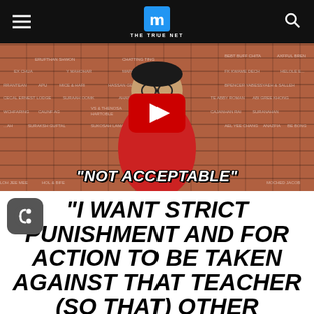THE TRUE NET
[Figure (photo): YouTube video thumbnail showing a person wearing a red outfit and black mask standing in front of a brick wall with names engraved on plaques. A YouTube play button is centered on the image. Text overlay reads "NOT ACCEPTABLE"]
"I WANT STRICT PUNISHMENT AND FOR ACTION TO BE TAKEN AGAINST THAT TEACHER (SO THAT) OTHER TEACHERS IN OUR..."